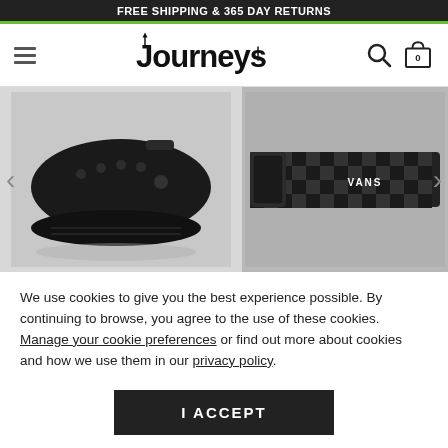FREE SHIPPING & 365 DAY RETURNS
[Figure (screenshot): Journeys website navigation bar with hamburger menu, Journeys logo in stylized font, search icon, and cart icon showing 0 items]
[Figure (photo): Two product images side by side: left shows black Crocs classic clog shoes, right shows black Vans checkered belt with VANS branding on buckle. Left and right carousel arrows visible.]
We use cookies to give you the best experience possible. By continuing to browse, you agree to the use of these cookies. Manage your cookie preferences or find out more about cookies and how we use them in our privacy policy.
I ACCEPT